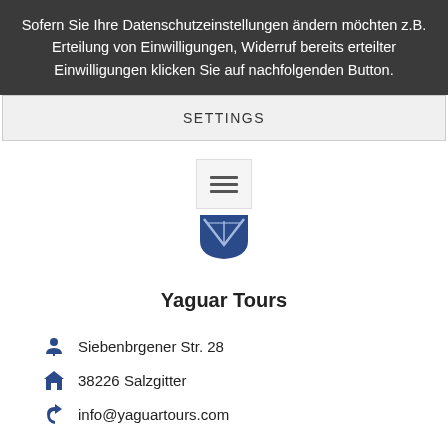Sofern Sie Ihre Datenschutzeinstellungen ändern möchten z.B. Erteilung von Einwilligungen, Widerruf bereits erteilter Einwilligungen klicken Sie auf nachfolgenden Button.
SETTINGS
[Figure (illustration): Hamburger menu icon (three horizontal lines) in a light grey box]
[Figure (logo): Yaguar Tours logo - blue shield/crest shape]
Yaguar Tours
Siebenbrgener Str. 28
38226 Salzgitter
info@yaguartours.com
Open